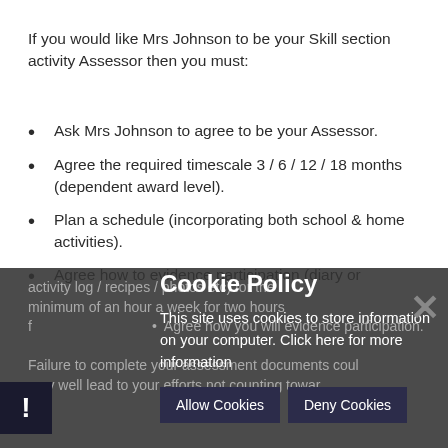If you would like Mrs Johnson to be your Skill section activity Assessor then you must:
Ask Mrs Johnson to agree to be your Assessor.
Agree the required timescale 3 / 6 / 12 / 18 months (dependent award level).
Plan a schedule (incorporating both school & home activities).
Agree how to evidence participation (diary or activity log / recipes / photos etc) for the minimum of an hour a week for two hours for
Agree how you will evidence participation.
Failure to complete your assessment documents could very well lead to your efforts not counting towar
Cookie Policy
This site uses cookies to store information on your computer. Click here for more information
Allow Cookies
Deny Cookies